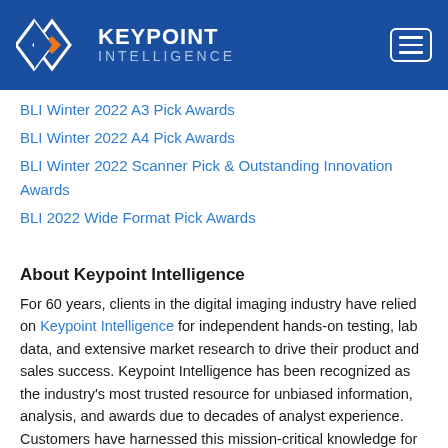Keypoint Intelligence
BLI Winter 2022 A3 Pick Awards
BLI Winter 2022 A4 Pick Awards
BLI Winter 2022 Scanner Pick & Outstanding Innovation Awards
BLI 2022 Wide Format Pick Awards
About Keypoint Intelligence
For 60 years, clients in the digital imaging industry have relied on Keypoint Intelligence for independent hands-on testing, lab data, and extensive market research to drive their product and sales success. Keypoint Intelligence has been recognized as the industry's most trusted resource for unbiased information, analysis, and awards due to decades of analyst experience. Customers have harnessed this mission-critical knowledge for strategic decision-making, daily sales enablement, and operational excellence to improve business goals and increase bottom lines. With a central